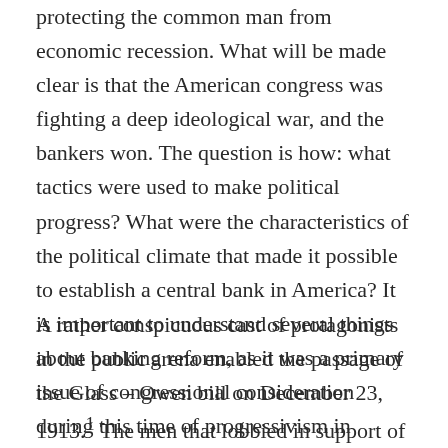protecting the common man from economic recession. What will be made clear is that the American congress was fighting a deep ideological war, and the bankers won. The question is how: what tactics were used to make political progress? What were the characteristics of the political climate that made it possible to establish a central bank in America? It is important to understand several things about banking reform, as it was a primary issue of congressional consideration during this time of progressivism in American politics.
A rather conspicuous cast of protagonists in the public arena enabled the passage of the Glass – Owen bill on December 23, 1913.1 The men that lobbied in support of centralized currency reform at some point included John D. Rockefeller, J. Pierpont Morgan, Senator